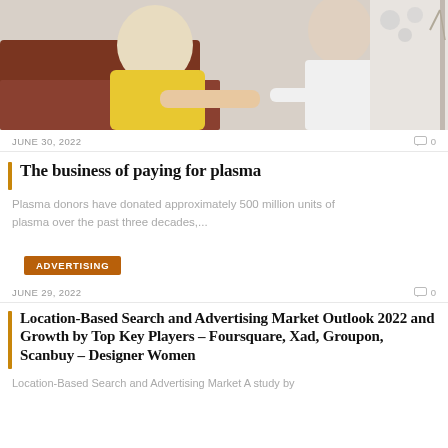[Figure (photo): A woman in a yellow shirt seated in a medical chair with a healthcare professional in a white coat beside her, appearing to be in a plasma donation setting.]
JUNE 30, 2022
0
The business of paying for plasma
Plasma donors have donated approximately 500 million units of plasma over the past three decades,...
ADVERTISING
JUNE 29, 2022
0
Location-Based Search and Advertising Market Outlook 2022 and Growth by Top Key Players – Foursquare, Xad, Groupon, Scanbuy – Designer Women
Location-Based Search and Advertising Market A study by